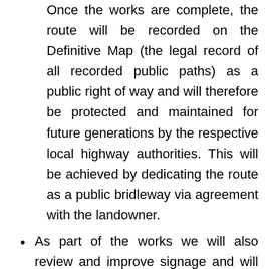Once the works are complete, the route will be recorded on the Definitive Map (the legal record of all recorded public paths) as a public right of way and will therefore be protected and maintained for future generations by the respective local highway authorities. This will be achieved by dedicating the route as a public bridleway via agreement with the landowner.
As part of the works we will also review and improve signage and will review the existing barriers at the northern end of the path to ensure they meet current accessibility and equestrian design guidance.